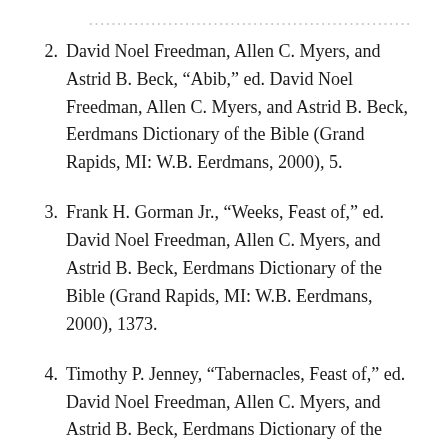2. David Noel Freedman, Allen C. Myers, and Astrid B. Beck, “Abib,” ed. David Noel Freedman, Allen C. Myers, and Astrid B. Beck, Eerdmans Dictionary of the Bible (Grand Rapids, MI: W.B. Eerdmans, 2000), 5.
3. Frank H. Gorman Jr., “Weeks, Feast of,” ed. David Noel Freedman, Allen C. Myers, and Astrid B. Beck, Eerdmans Dictionary of the Bible (Grand Rapids, MI: W.B. Eerdmans, 2000), 1373.
4. Timothy P. Jenney, “Tabernacles, Feast of,” ed. David Noel Freedman, Allen C. Myers, and Astrid B. Beck, Eerdmans Dictionary of the Bible